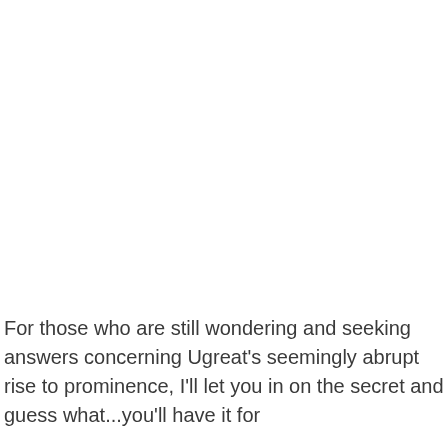For those who are still wondering and seeking answers concerning Ugreat's seemingly abrupt rise to prominence, I'll let you in on the secret and guess what...you'll have it for